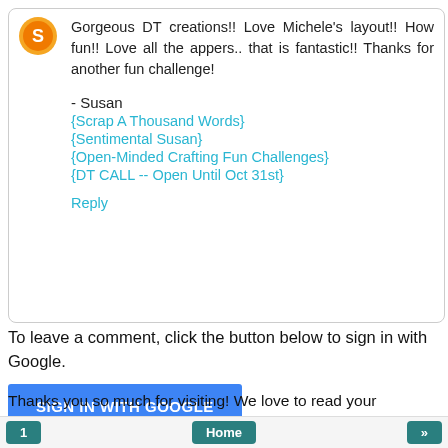[Figure (illustration): Orange circular avatar/logo icon]
Gorgeous DT creations!! Love Michele's layout!! How fun!! Love all the appers.. that is fantastic!! Thanks for another fun challenge!
- Susan
{Scrap A Thousand Words}
{Sentimental Susan}
{Open-Minded Crafting Fun Challenges}
{DT CALL -- Open Until Oct 31st}
Reply
To leave a comment, click the button below to sign in with Google.
SIGN IN WITH GOOGLE
Thanks you so much for visiting! We love to read your comments!
1  Home  »